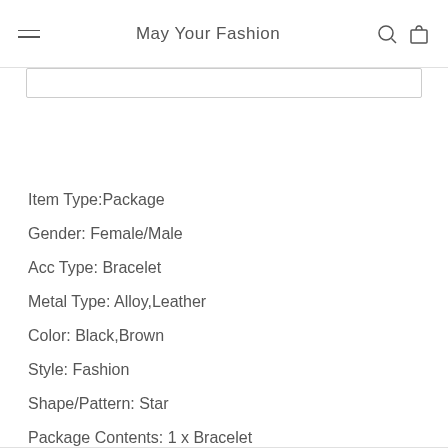May Your Fashion
Item Type:Package
Gender: Female/Male
Acc Type: Bracelet
Metal Type: Alloy,Leather
Color: Black,Brown
Style: Fashion
Shape/Pattern: Star
Package Contents: 1 x Bracelet
Manual measurement, there exist a few errors